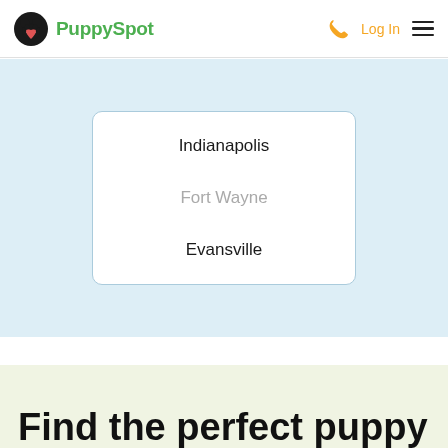PuppySpot — Log In
Indianapolis
Fort Wayne
Evansville
Find the perfect puppy